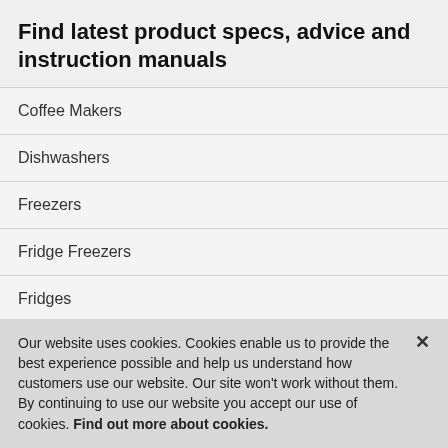Find latest product specs, advice and instruction manuals
Coffee Makers
Dishwashers
Freezers
Fridge Freezers
Fridges
Hobs
Our website uses cookies. Cookies enable us to provide the best experience possible and help us understand how customers use our website. Our site won't work without them. By continuing to use our website you accept our use of cookies. Find out more about cookies.